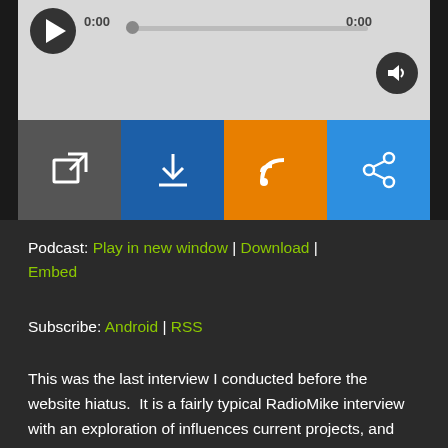[Figure (screenshot): Audio player with play button, progress bar showing 0:00, volume icon, and four action buttons: open in new window (gray), download (dark blue), RSS (orange), share (light blue)]
Podcast: Play in new window | Download | Embed
Subscribe: Android | RSS
This was the last interview I conducted before the website hiatus.  It is a fairly typical RadioMike interview with an exploration of influences current projects, and musical memories.  Please enjoy and if you have any suggestions for musical interviews, please send them our way.  I look forward to sharing new